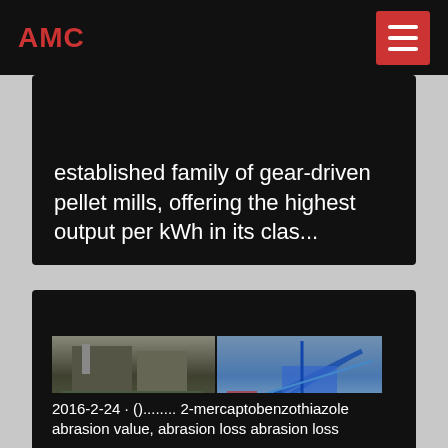AMC
established family of gear-driven pellet mills, offering the highest output per kWh in its clas...
0
[Figure (photo): Four industrial machinery photos arranged in a 2x2 grid: top-left shows an industrial plant building, top-right shows a blue mobile screening/crushing machine in a field, bottom-left shows an excavator/bulldozer working at a mining site, bottom-right shows mobile crushing/screening equipment outdoors.]
2016-2-24 · ()........ 2-mercaptobenzothiazole abrasion value, abrasion loss abrasion loss